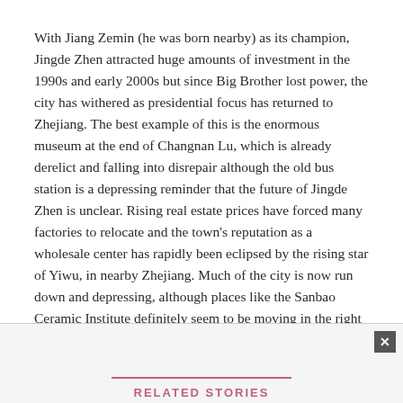With Jiang Zemin (he was born nearby) as its champion, Jingde Zhen attracted huge amounts of investment in the 1990s and early 2000s but since Big Brother lost power, the city has withered as presidential focus has returned to Zhejiang. The best example of this is the enormous museum at the end of Changnan Lu, which is already derelict and falling into disrepair although the old bus station is a depressing reminder that the future of Jingde Zhen is unclear. Rising real estate prices have forced many factories to relocate and the town's reputation as a wholesale center has rapidly been eclipsed by the rising star of Yiwu, in nearby Zhejiang. Much of the city is now run down and depressing, although places like the Sanbao Ceramic Institute definitely seem to be moving in the right direction.
RELATED STORIES